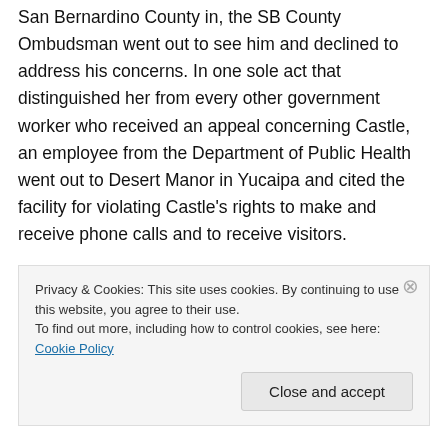which Castle was subsequently relocated to San Bernardino County in, the SB County Ombudsman went out to see him and declined to address his concerns. In one sole act that distinguished her from every other government worker who received an appeal concerning Castle, an employee from the Department of Public Health went out to Desert Manor in Yucaipa and cited the facility for violating Castle's rights to make and receive phone calls and to receive visitors.

Adult Protective Services in San Bernardino County told the caller that they don't investigate matters relevant to
Privacy & Cookies: This site uses cookies. By continuing to use this website, you agree to their use.
To find out more, including how to control cookies, see here: Cookie Policy